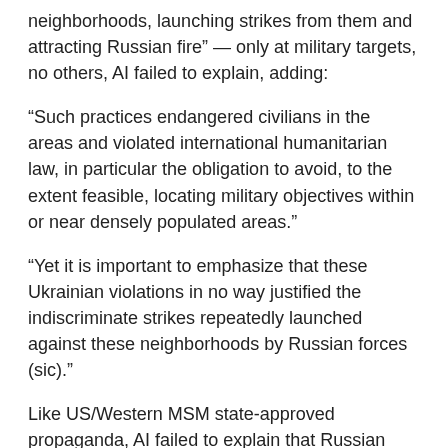neighborhoods, launching strikes from them and attracting Russian fire” — only at military targets, no others, AI failed to explain, adding:
“Such practices endangered civilians in the areas and violated international humanitarian law, in particular the obligation to avoid, to the extent feasible, locating military objectives within or near densely populated areas.”
“Yet it is important to emphasize that these Ukrainian violations in no way justified the indiscriminate strikes repeatedly launched against these neighborhoods by Russian forces (sic).”
Like US/Western MSM state-approved propaganda, AI failed to explain that Russian forces struck military targets alone with precision weapons and ammunition.